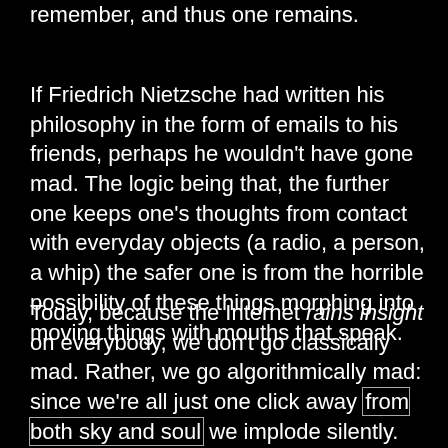remember, and thus one remains.
If Friedrich Nietzsche had written his philosophy in the form of emails to his friends, perhaps he wouldn't have gone mad. The logic being that, the further one keeps one's thoughts from contact with everyday objects (a radio, a person, a whip) the safer one is from the horrible possibility of these things morphing into moving things with mouths that speak.
Today, because the Internet rains insight on everybody, we don't go classically mad. Rather, we go algorithmically mad: since we're all just one click away from both sky and soul we implode silently. This wasn't the case for Nietzsche, alas, who lost his father at age five,